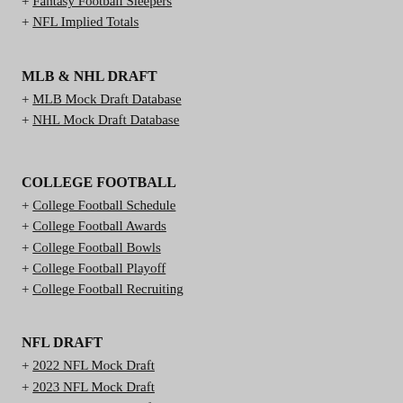+ Fantasy Football Sleepers
+ NFL Implied Totals
MLB & NHL DRAFT
+ MLB Mock Draft Database
+ NHL Mock Draft Database
COLLEGE FOOTBALL
+ College Football Schedule
+ College Football Awards
+ College Football Bowls
+ College Football Playoff
+ College Football Recruiting
NFL DRAFT
+ 2022 NFL Mock Draft
+ 2023 NFL Mock Draft
+ 2024 NFL Mock Draft
+ NFL Mock Draft Database
+ NFL Mock Draft Roundups
+ NFL Draft Results